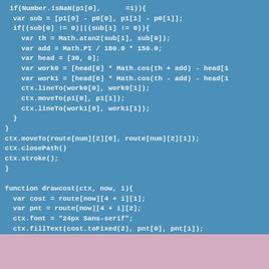if(Number.isNaN(p1[0], =1)){  var sub = [p1[0] - p0[0], p1[1] - p0[1]];  if((sub[0] != 0)||(sub[1] != 0)){    var th = Math.atan2(sub[1], sub[0]);    var add = Math.PI / 180.0 * 150.0;    var head = [30, 0];    var work0 = [head[0] * Math.cos(th + add) - head[1    var work1 = [head[0] * Math.cos(th - add) - head[1    ctx.lineTo(work0[0], work0[1]);    ctx.moveTo(p1[0], p1[1]);    ctx.lineTo(work1[0], work1[1]);  }}ctx.moveTo(route[num][2][0], route[num][2][1]);ctx.closePath()ctx.stroke();}function drawcost(ctx, now, i){  var cost = route[now][4 + i][1];  var pnt = route[now][4 + i][2];  ctx.font = "24px Sans-serif";  ctx.fillText(cost.toFixed(2), pnt[0], pnt[1]);}</script/script>□□□□□□□